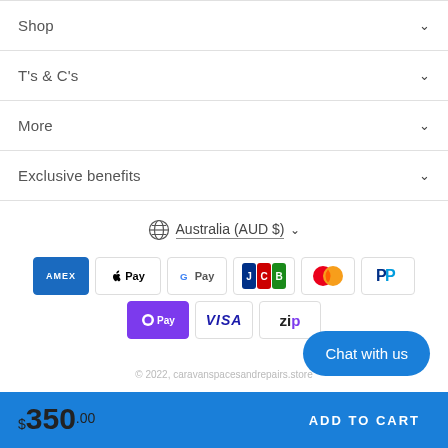Shop
T's & C's
More
Exclusive benefits
Australia (AUD $)
[Figure (other): Payment method icons: American Express, Apple Pay, Google Pay, JCB, Mastercard, PayPal, OPay, Visa, Zip]
Chat with us
© 2022, caravanspacesandrepairs.store
$350.00
ADD TO CART